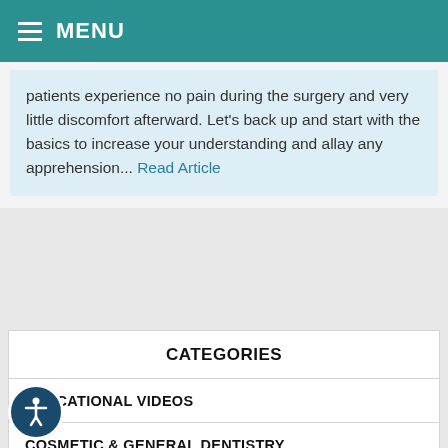MENU
patients experience no pain during the surgery and very little discomfort afterward. Let's back up and start with the basics to increase your understanding and allay any apprehension... Read Article
CATEGORIES
EDUCATIONAL VIDEOS
COSMETIC & GENERAL DENTISTRY
EMERGENCY CARE